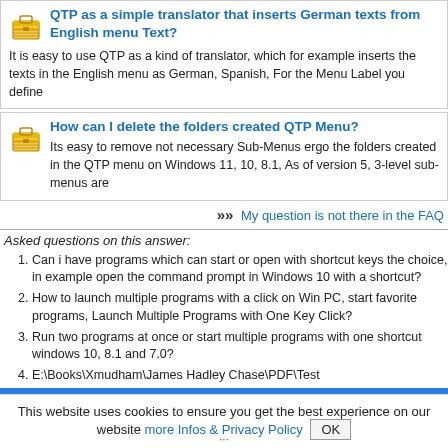QTP as a simple translator that inserts German texts from English menu Text?
It is easy to use QTP as a kind of translator, which for example inserts the texts in the English menu as German, Spanish, For the Menu Label you define
How can I delete the folders created QTP Menu?
Its easy to remove not necessary Sub-Menus ergo the folders created in the QTP menu on Windows 11, 10, 8.1, As of version 5, 3-level sub-menus are
»»  My question is not there in the FAQ
Asked questions on this answer:
Can i have programs which can start or open with shortcut keys the choice, in example open the command prompt in Windows 10 with a shortcut?
How to launch multiple programs with a click on Win PC, start favorite programs, Launch Multiple Programs with One Key Click?
Run two programs at once or start multiple programs with one shortcut windows 10, 8.1 and 7.0?
E:\Books\Xmudham\James Hadley Chase\PDF\Test
In your demo entry it states
This website uses cookies to ensure you get the best experience on our website more Infos & Privacy Policy  OK